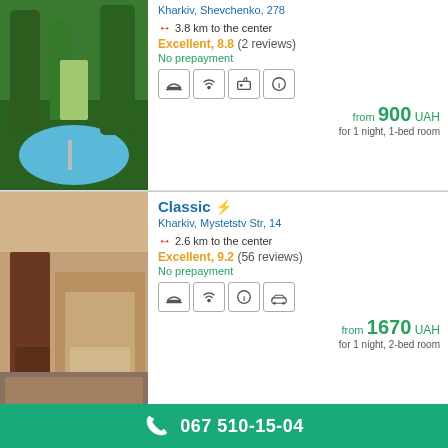Kharkiv, Shevchenko, 278
3.8 km to the center
Excellent, 8.8 (2 reviews)
No prepayment
from 900 UAH for 1 night, 1-bed room
Classic
Kharkiv, Mystetstv Str, 14
2.6 km to the center
Excellent, 9.2 (56 reviews)
No prepayment
from 1670 UAH for 1 night, 2-bed room
Perron
Kharkiv, Rileeva, 60
067 510-15-04